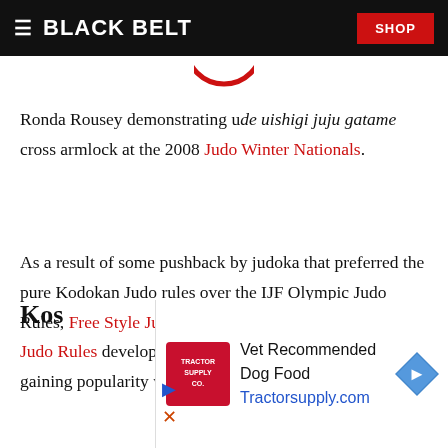BLACK BELT | SHOP
[Figure (illustration): Partial red circle graphic visible at top of content area]
Ronda Rousey demonstrating ude uishigi juju gatame cross armlock at the 2008 Judo Winter Nationals.
As a result of some pushback by judoka that preferred the pure Kodokan Judo rules over the IJF Olympic Judo Rules, Free Style Judo founded by Steve Scott and Kosen Judo Rules developed by John Paccione have been gaining popularity within the U...
Kos...
[Figure (advertisement): Tractor Supply Co. advertisement: Vet Recommended Dog Food, Tractorsupply.com]